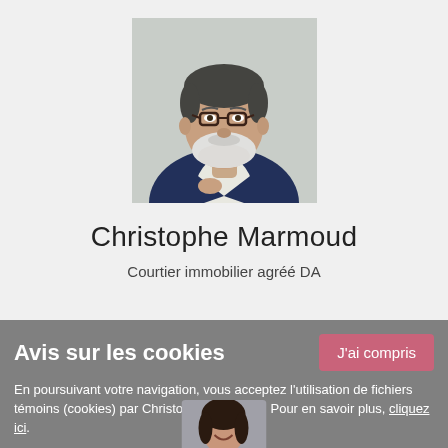[Figure (photo): Professional headshot of a middle-aged man with white beard and glasses, wearing a dark navy suit jacket over a white shirt, looking to the side, light grey background]
Christophe Marmoud
Courtier immobilier agréé DA
Avis sur les cookies
En poursuivant votre navigation, vous acceptez l'utilisation de fichiers témoins (cookies) par Christophe Marmoud. Pour en savoir plus, cliquez ici.
[Figure (photo): Partial view of a second person (woman) at the bottom of the cookie banner]